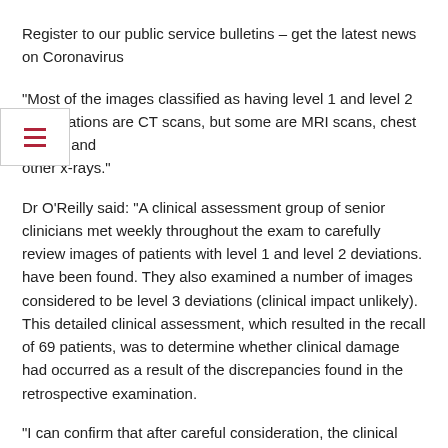Register to our public service bulletins – get the latest news on Coronavirus
“Most of the images classified as having level 1 and level 2 ations are CT scans, but some are MRI scans, chest x-rays, and other x-rays.”
Dr O’Reilly said: “A clinical assessment group of senior clinicians met weekly throughout the exam to carefully review images of patients with level 1 and level 2 deviations. have been found. They also examined a number of images considered to be level 3 deviations (clinical impact unlikely). This detailed clinical assessment, which resulted in the recall of 69 patients, was to determine whether clinical damage had occurred as a result of the discrepancies found in the retrospective examination.
“I can confirm that after careful consideration, the clinical evaluation group determined that 17 patients should now be included in a level